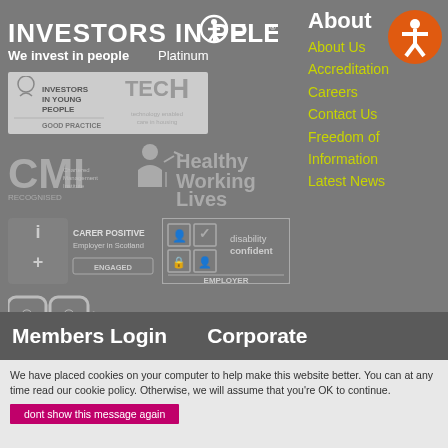[Figure (logo): Investors in People - We invest in people Platinum logo (white text on gray background)]
[Figure (logo): Investors in Young People Good Practice Award Gold badge]
[Figure (logo): TECH technology enabled care in housing logo]
[Figure (logo): CMI Chartered Management Institute Recognised logo]
[Figure (logo): Healthy Working Lives logo]
[Figure (logo): Carer Positive Employer in Scotland - Engaged logo]
[Figure (logo): Disability Confident Employer logo]
[Figure (logo): Happy To Translate logo]
About
About Us
Accreditation
Careers
Contact Us
Freedom of Information
Latest News
Members Login
Corporate
We have placed cookies on your computer to help make this website better. You can at any time read our cookie policy. Otherwise, we will assume that you're OK to continue.
dont show this message again